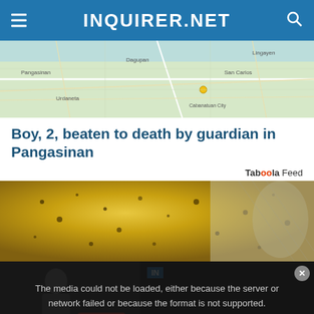INQUIRER.NET
[Figure (map): Map showing Pangasinan area in the Philippines]
Boy, 2, beaten to death by guardian in Pangasinan
Taboola Feed
[Figure (photo): Close-up photo of a textured golden/yellow surface with dark spots, possibly food]
[Figure (screenshot): Video overlay showing media error message and video thumbnail of homeowners in Poland queuing for fuel]
The media could not be loaded, either because the server or network failed or because the format is not supported.
Homeowners in Poland queue for days to buy fuel